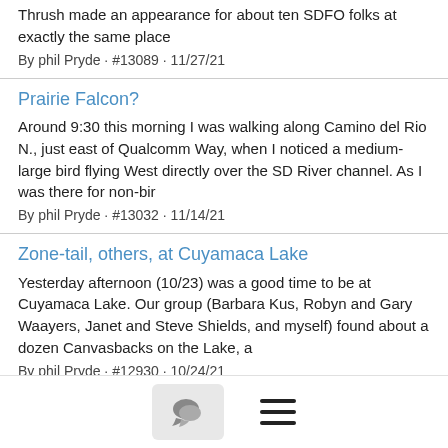Thrush made an appearance for about ten SDFO folks at exactly the same place
By phil Pryde · #13089 · 11/27/21
Prairie Falcon?
Around 9:30 this morning I was walking along Camino del Rio N., just east of Qualcomm Way, when I noticed a medium-large bird flying West directly over the SD River channel. As I was there for non-bir
By phil Pryde · #13032 · 11/14/21
Zone-tail, others, at Cuyamaca Lake
Yesterday afternoon (10/23) was a good time to be at Cuyamaca Lake. Our group (Barbara Kus, Robyn and Gary Waayers, Janet and Steve Shields, and myself) found about a dozen Canvasbacks on the Lake, a
By phil Pryde · #12930 · 10/24/21
Egyptian goose
I happened to be making a quick stop at Lindo Lake this morning